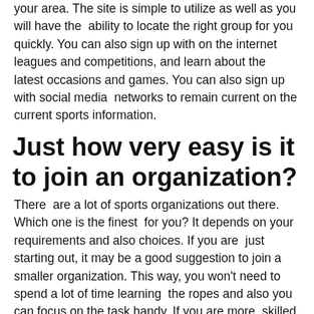your area. The site is simple to utilize as well as you will have the ability to locate the right group for you quickly. You can also sign up with on the internet leagues and competitions, and learn about the latest occasions and games. You can also sign up with social media networks to remain current on the current sports information.
Just how very easy is it to join an organization?
There are a lot of sports organizations out there. Which one is the finest for you? It depends on your requirements and also choices. If you are just starting out, it may be a good suggestion to join a smaller organization. This way, you won't need to spend a lot of time learning the ropes and also you can focus on the task handy. If you are more skilled, you could intend to consider signing up with a larger